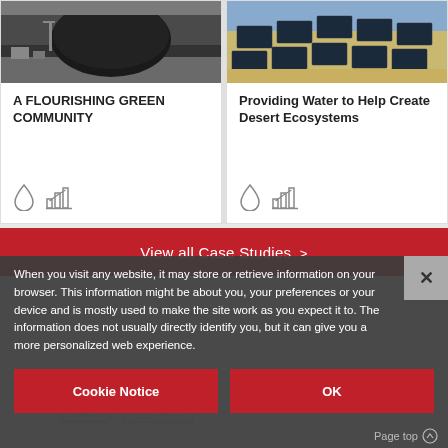[Figure (photo): Aerial view of a large dark cylindrical industrial tank/facility with road and structures]
A FLOURISHING GREEN COMMUNITY
[Figure (photo): Aerial view of solar panels installed on sandy/desert terrain]
Providing Water to Help Create Desert Ecosystems
View all Case Studies >
When you visit any website, it may store or retrieve information on your browser. This information might be about you, your preferences or your device and is mostly used to make the site work as you expect it to. The information does not usually directly identify you, but it can give you a more personalized web experience.
Cookie Notice
OK